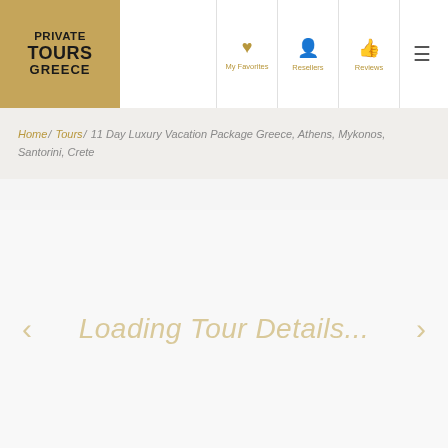[Figure (logo): Private Tours Greece logo - gold/tan background with bold black text reading PRIVATE TOURS GREECE]
My Favorites | Resellers | Reviews | Menu
Home / Tours / 11 Day Luxury Vacation Package Greece, Athens, Mykonos, Santorini, Crete
Loading Tour Details...